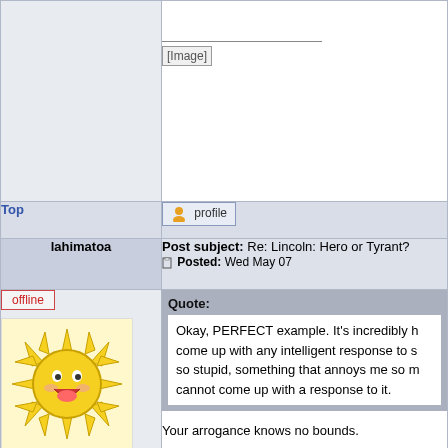[Figure (screenshot): Forum post thread showing a broken image placeholder in top-right cell]
Top
[Figure (screenshot): Profile button with user icon]
lahimatoa
Post subject: Re: Lincoln: Hero or Tyrant? Posted: Wed May 07
offline
[Figure (illustration): Cartoon sun character with happy face avatar]
Joined: Thu Jan 06, 2005 12:33 am Posts: 1661 Location: About 260 miles northeast of Stu's backyard.
Quote: Okay, PERFECT example. It's incredibly h come up with any intelligent response to s so stupid, something that annoys me so m cannot come up with a response to it.
Your arrogance knows no bounds.

Coupled with your ignorance, you truly are a dangerous foe.
JoeyDay wrote: